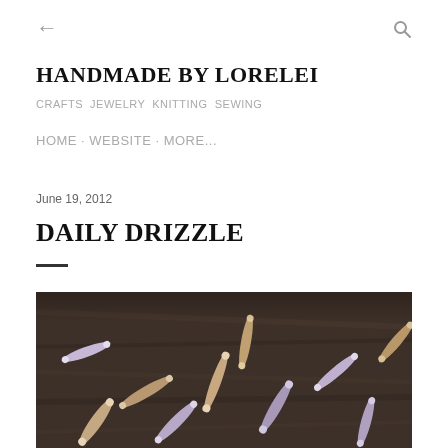← ‹back› Q ‹search›
HANDMADE BY LORELEI
CRAFTS JEWELRY KNITTING SEWING
HOME · WEBSITE · MORE...
June 19, 2012
DAILY DRIZZLE
[Figure (photo): Close-up photograph of elongated tubular beads with rounded tips, tan and purple/lavender colored, scattered on a dark wooden surface]